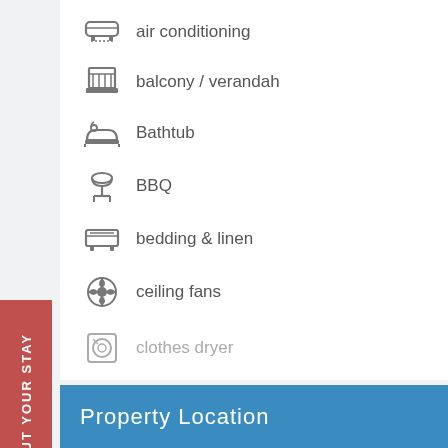air conditioning
balcony / verandah
Bathtub
BBQ
bedding & linen
ceiling fans
clothes dryer
complex pool
More +
ABOUT YOUR STAY
Property Location